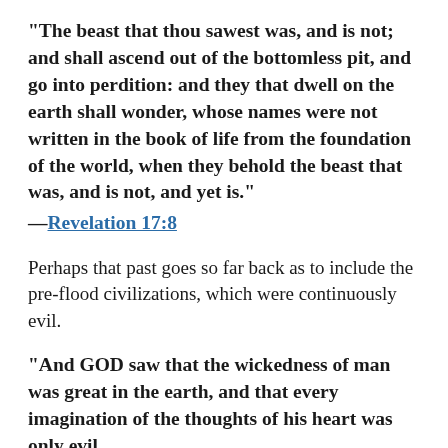“The beast that thou sawest was, and is not; and shall ascend out of the bottomless pit, and go into perdition: and they that dwell on the earth shall wonder, whose names were not written in the book of life from the foundation of the world, when they behold the beast that was, and is not, and yet is.”
—Revelation 17:8
Perhaps that past goes so far back as to include the pre-flood civilizations, which were continuously evil.
“And GOD saw that the wickedness of man was great in the earth, and that every imagination of the thoughts of his heart was only evil